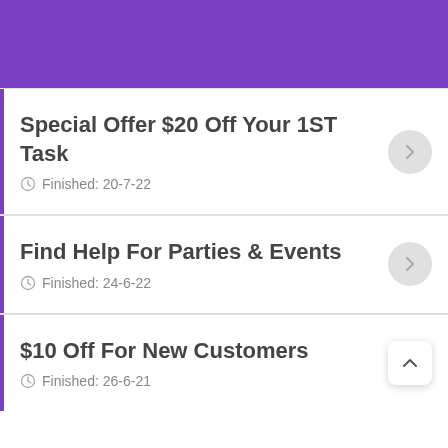Special Offer $20 Off Your 1ST Task
Finished: 20-7-22
Find Help For Parties & Events
Finished: 24-6-22
$10 Off For New Customers
Finished: 26-6-21